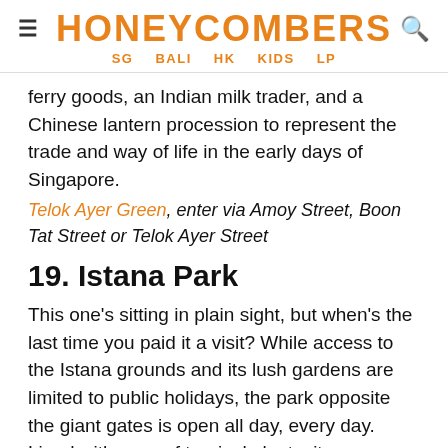HONEYCOMBERS SG BALI HK KIDS LP
ferry goods, an Indian milk trader, and a Chinese lantern procession to represent the trade and way of life in the early days of Singapore.
Telok Ayer Green, enter via Amoy Street, Boon Tat Street or Telok Ayer Street
19. Istana Park
This one's sitting in plain sight, but when's the last time you paid it a visit? While access to the Istana grounds and its lush gardens are limited to public holidays, the park opposite the giant gates is open all day, every day. Lined with rows of tropical plants, its centrepiece is a 26m-long Festival Arch towering over the reflecting